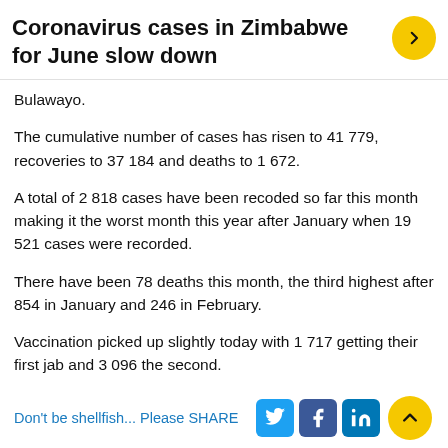Coronavirus cases in Zimbabwe for June slow down
Bulawayo.
The cumulative number of cases has risen to 41 779, recoveries to 37 184 and deaths to 1 672.
A total of 2 818 cases have been recoded so far this month making it the worst month this year after January when 19 521 cases were recorded.
There have been 78 deaths this month, the third highest after 854 in January and 246 in February.
Vaccination picked up slightly today with 1 717 getting their first jab and 3 096 the second.
(116 VIEWS)
Don't be shellfish... Please SHARE